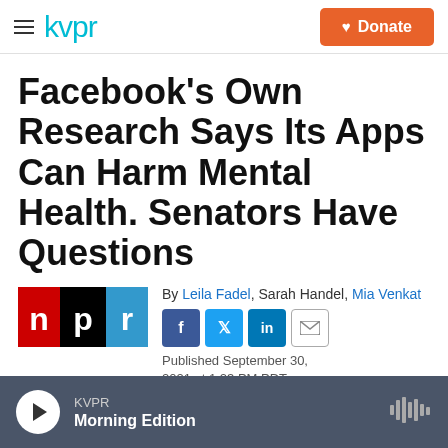kvpr | Donate
Facebook's Own Research Says Its Apps Can Harm Mental Health. Senators Have Questions
By Leila Fadel, Sarah Handel, Mia Venkat
Published September 30, 2021 at 1:23 PM PDT
KVPR Morning Edition